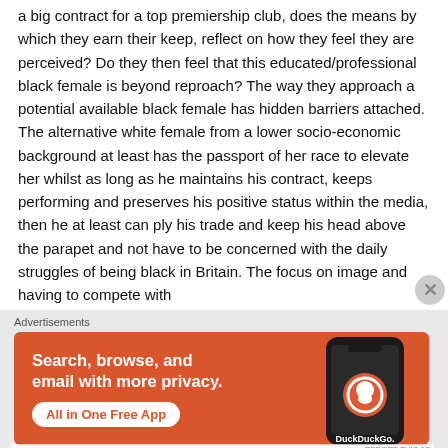a big contract for a top premiership club, does the means by which they earn their keep, reflect on how they feel they are perceived? Do they then feel that this educated/professional black female is beyond reproach? The way they approach a potential available black female has hidden barriers attached. The alternative white female from a lower socio-economic background at least has the passport of her race to elevate her whilst as long as he maintains his contract, keeps performing and preserves his positive status within the media, then he at least can ply his trade and keep his head above the parapet and not have to be concerned with the daily struggles of being black in Britain. The focus on image and having to compete with
[Figure (other): DuckDuckGo advertisement: orange background with phone illustration. Text reads 'Search, browse, and email with more privacy. All in One Free App' with DuckDuckGo logo and branding.]